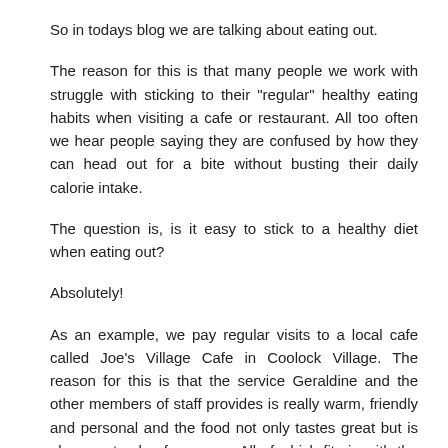So in todays blog we are talking about eating out.
The reason for this is that many people we work with struggle with sticking to their "regular" healthy eating habits when visiting a cafe or restaurant. All too often we hear people saying they are confused by how they can head out for a bite without busting their daily calorie intake.
The question is, is it easy to stick to a healthy diet when eating out?
Absolutely!
As an example, we pay regular visits to a local cafe called Joe's Village Cafe in Coolock Village. The reason for this is that the service Geraldine and the other members of staff provides is really warm, friendly and personal and the food not only tastes great but is also great value for money. All of which fits in with the Evolutis core values and principles.
(Oh yeah, they are also a 98fm best of Dublin award winning cafe!)